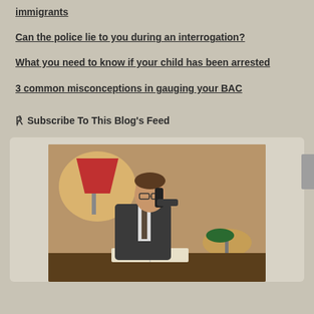What an impact a driving conviction means for Canadian immigrants
Can the police lie to you during an interrogation?
What you need to know if your child has been arrested
3 common misconceptions in gauging your BAC
Subscribe To This Blog's Feed
[Figure (photo): A businessman in a suit sitting at a desk talking on the phone, with an open book in front of him, a red lamp on the left and a green desk lamp on the right.]